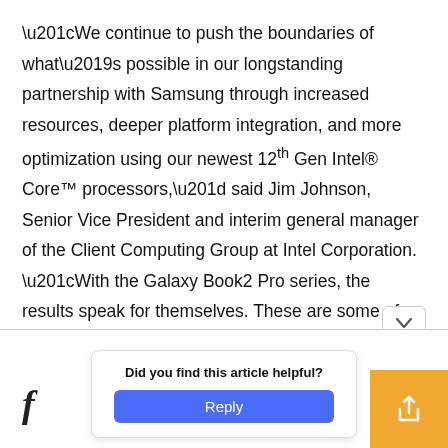“We continue to push the boundaries of what’s possible in our longstanding partnership with Samsung through increased resources, deeper platform integration, and more optimization using our newest 12th Gen Intel® Core™ processors,” said Jim Johnson, Senior Vice President and interim general manager of the Client Computing Group at Intel Corporation. “With the Galaxy Book2 Pro series, the results speak for themselves. These are some of the lightest, thinnest, and most powerful PCs we’ve ever had the opportunity to work on.”
Did you find this article helpful?
Reply